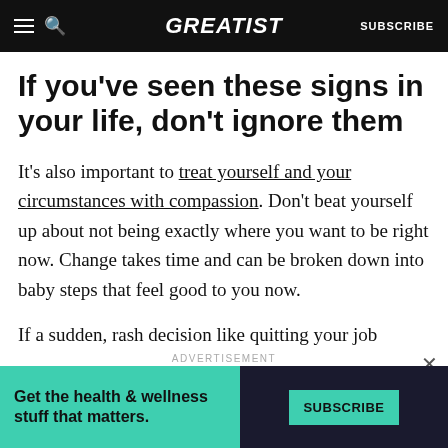GREATIST | SUBSCRIBE
If you've seen these signs in your life, don't ignore them
It's also important to treat yourself and your circumstances with compassion. Don't beat yourself up about not being exactly where you want to be right now. Change takes time and can be broken down into baby steps that feel good to you now.
If a sudden, rash decision like quitting your job
[Figure (screenshot): Advertisement banner: green section with text 'Get the health & wellness stuff that matters.' and dark section with a teal SUBSCRIBE button]